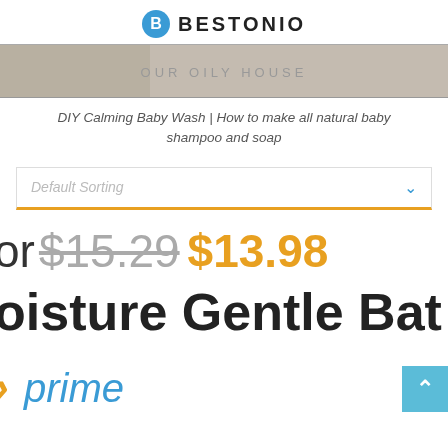BESTONIO
[Figure (photo): Banner image with 'OUR OILY HOUSE' text overlay]
DIY Calming Baby Wash | How to make all natural baby shampoo and soap
Default Sorting
or $15.29 $13.98
oisture Gentle Bat
[Figure (logo): Amazon Prime logo (partially visible)]
[Figure (other): Scroll to top button (blue, arrow up)]